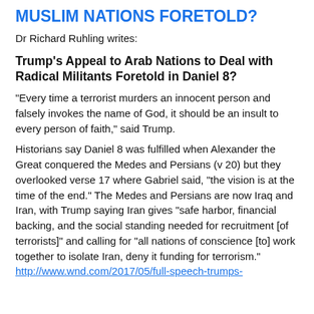MUSLIM NATIONS FORETOLD?
Dr Richard Ruhling writes:
Trump’s Appeal to Arab Nations to Deal with Radical Militants Foretold in Daniel 8?
“Every time a terrorist murders an innocent person and falsely invokes the name of God, it should be an insult to every person of faith,” said Trump.
Historians say Daniel 8 was fulfilled when Alexander the Great conquered the Medes and Persians (v 20) but they overlooked verse 17 where Gabriel said, “the vision is at the time of the end.” The Medes and Persians are now Iraq and Iran, with Trump saying Iran gives “safe harbor, financial backing, and the social standing needed for recruitment [of terrorists]” and calling for “all nations of conscience [to] work together to isolate Iran, deny it funding for terrorism.” http://www.wnd.com/2017/05/full-speech-trumps-